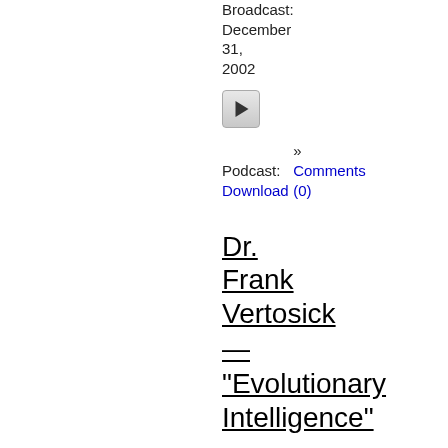Broadcast: December 31, 2002
[Figure (other): Play button icon for podcast audio]
Podcast: Download
» Comments (0)
Dr. Frank Vertosick — "Evolutionary Intelligence"